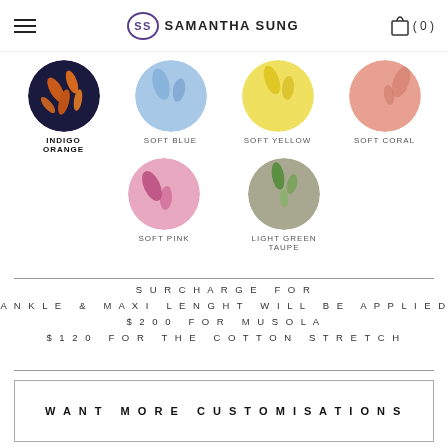SAMANTHA SUNG
[Figure (other): Six circular fabric swatches arranged in two rows: Row 1 - Indigo Orange (selected, bold), Soft Blue, Soft Yellow, Soft Coral. Row 2 - Soft Pink, Light Green Taupe.]
SURCHARGE FOR ANKLE & MAXI LENGHT WILL BE APPLIED $200 FOR MUSOLA $120 FOR THE COTTON STRETCH
WANT MORE CUSTOMISATIONS